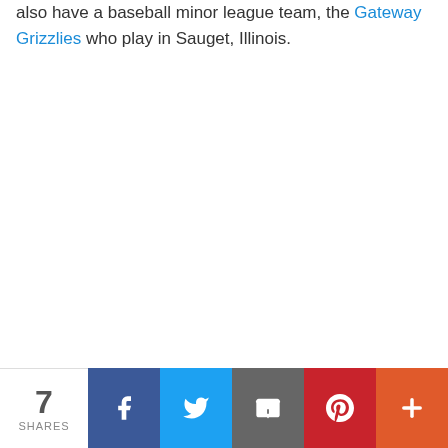also have a baseball minor league team, the Gateway Grizzlies who play in Sauget, Illinois.
7 SHARES | Facebook | Twitter | Email | Pinterest | More